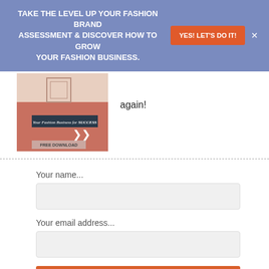TAKE THE LEVEL UP YOUR FASHION BRAND ASSESSMENT & DISCOVER HOW TO GROW YOUR FASHION BUSINESS.
YES! LET'S DO IT!
[Figure (illustration): Book cover: Your Fashion Business for SUCCESS, FREE DOWNLOAD]
again!
Your name...
Your email address...
Yes Please!